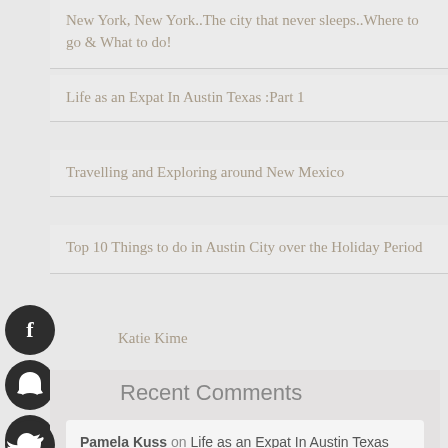New York, New York..The city that never sleeps..Where to go & What to do!
Life as an Expat In Austin Texas :Part 1
Travelling and Exploring around New Mexico
Top 10 Things to do in Austin City over the Holiday Period
Katie Kime
Recent Comments
Pamela Kuss on Life as an Expat In Austin Texas :Part 1